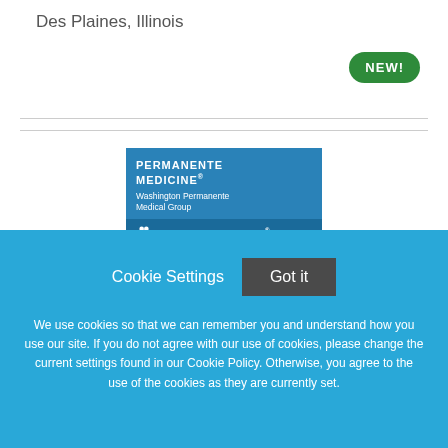Des Plaines, Illinois
[Figure (logo): NEW! badge - green rounded button with white bold text]
[Figure (logo): Permanente Medicine - Washington Permanente Medical Group advertisement banner with Kaiser Permanente logo at bottom]
Cookie Settings
Got it
We use cookies so that we can remember you and understand how you use our site. If you do not agree with our use of cookies, please change the current settings found in our Cookie Policy. Otherwise, you agree to the use of the cookies as they are currently set.